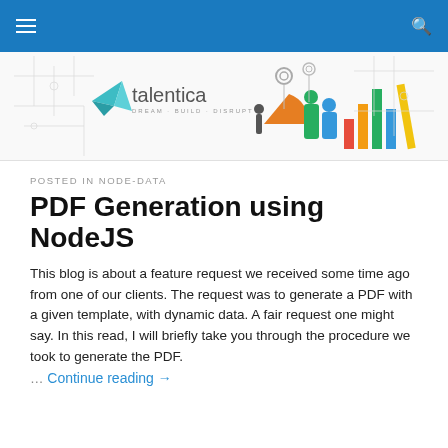Navigation bar with hamburger menu and search icon
[Figure (logo): Talentica logo with paper plane icon and tagline DREAM·BUILD·DISRUPT alongside a colorful illustration of people with bar charts and analytics graphics]
POSTED IN NODE-DATA
PDF Generation using NodeJS
This blog is about a feature request we received some time ago from one of our clients. The request was to generate a PDF with a given template, with dynamic data. A fair request one might say. In this read, I will briefly take you through the procedure we took to generate the PDF.
… Continue reading →